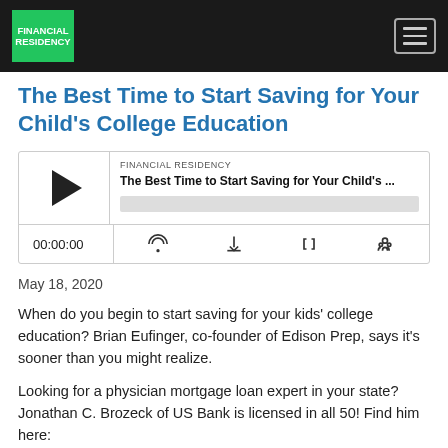FINANCIAL RESIDENCY
The Best Time to Start Saving for Your Child's College Education
[Figure (other): Podcast audio player widget showing FINANCIAL RESIDENCY label, episode title 'The Best Time to Start Saving for Your Child's ...', play button, progress bar, timestamp 00:00:00, and control icons for RSS, download, embed, and settings]
May 18, 2020
When do you begin to start saving for your kids' college education? Brian Eufinger, co-founder of Edison Prep, says it's sooner than you might realize.
Looking for a physician mortgage loan expert in your state? Jonathan C. Brozeck of US Bank is licensed in all 50! Find him here:
Read More